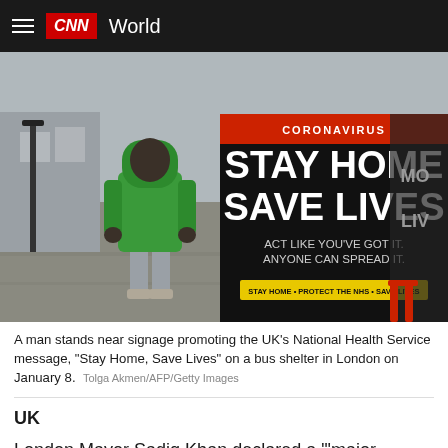CNN World
[Figure (photo): A man in a green hoodie stands with his back to the camera near a bus shelter displaying a black billboard with 'STAY HOME SAVE LIVES' signage. The billboard also reads 'ACT LIKE YOU'VE GOT IT. ANYONE CAN SPREAD IT.' and 'STAY HOME • PROTECT THE NHS • SAVE LIVES' in yellow. Street scene in London.]
A man stands near signage promoting the UK's National Health Service message, "Stay Home, Save Lives" on a bus shelter in London on January 8.  Tolga Akmen/AFP/Getty Images
UK
London Mayor Sadiq Khan declared a "'major incident' due to the rapid spread of the coronavirus across the capital and the increase of Covid-19